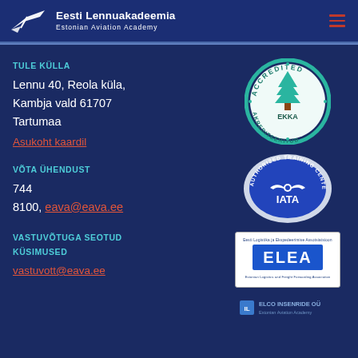Eesti Lennuakadeemia / Estonian Aviation Academy
TULE KÜLLA
Lennu 40, Reola küla, Kambja vald 61707 Tartumaa
Asukoht kaardil
[Figure (logo): EKKA Accredited / Akrediteeritud circular badge with tree logo]
[Figure (logo): IATA Authorized Training Center circular badge]
VÕTA ÜHENDUST
744 8100, eava@eava.ee
[Figure (logo): ELEA - Eesti Logistika ja Ekspedeerimise Assotsiatsioon logo]
[Figure (logo): ELCO Insenride OÜ logo]
VASTUVÕTUGA SEOTUD KÜSIMUSED
vastuvott@eava.ee